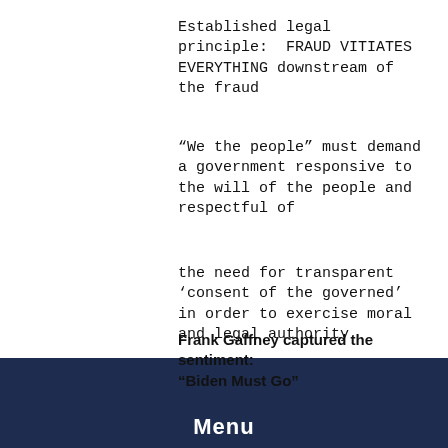Established legal principle:  FRAUD VITIATES EVERYTHING downstream of the fraud
“We the people” must demand a government responsive to the will of the people and respectful of
the need for transparent ‘consent of the governed’ in order to exercise moral and legal authority
Frank Gaffney captured the sentiment:
“Biden Must Go”
Menu